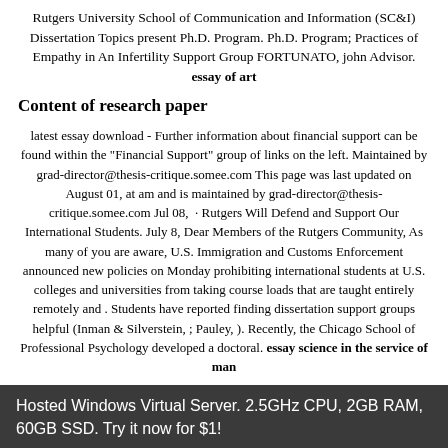Rutgers University School of Communication and Information (SC&I) Dissertation Topics present Ph.D. Program. Ph.D. Program; Practices of Empathy in An Infertility Support Group FORTUNATO, john Advisor. essay of art
Content of research paper
latest essay download - Further information about financial support can be found within the "Financial Support" group of links on the left. Maintained by grad-director@thesis-critique.somee.com This page was last updated on August 01, at am and is maintained by grad-director@thesis-critique.somee.com Jul 08, · Rutgers Will Defend and Support Our International Students. July 8, Dear Members of the Rutgers Community, As many of you are aware, U.S. Immigration and Customs Enforcement announced new policies on Monday prohibiting international students at U.S. colleges and universities from taking course loads that are taught entirely remotely and . Students have reported finding dissertation support groups helpful (Inman & Silverstein, ; Pauley, ). Recently, the Chicago School of Professional Psychology developed a doctoral. essay science in the service of man
Hosted Windows Virtual Server. 2.5GHz CPU, 2GB RAM, 60GB SSD. Try it now for $1!